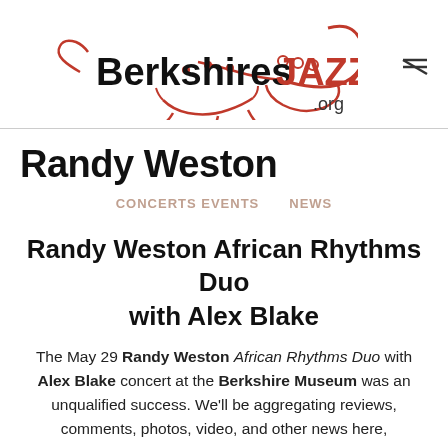[Figure (logo): Berkshires Jazz .org logo with trumpet illustration in red and black]
Randy Weston
CONCERTS  EVENTS    NEWS
Randy Weston African Rhythms Duo with Alex Blake
The May 29 Randy Weston African Rhythms Duo with Alex Blake concert at the Berkshire Museum was an unqualified success. We'll be aggregating reviews, comments, photos, video, and other news here,